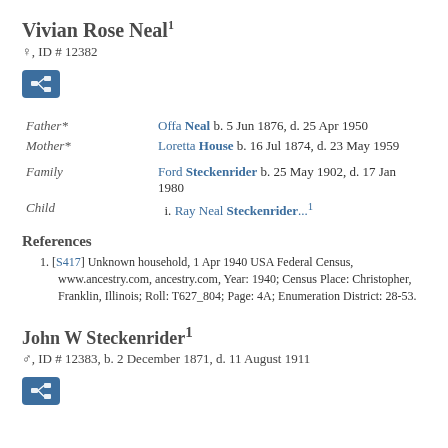Vivian Rose Neal¹
♀, ID # 12382
[Figure (other): Blue button icon with family tree / genealogy network symbol]
| Father* | Offa Neal b. 5 Jun 1876, d. 25 Apr 1950 |
| Mother* | Loretta House b. 16 Jul 1874, d. 23 May 1959 |
| Family | Ford Steckenrider b. 25 May 1902, d. 17 Jan 1980 |
| Child | i. Ray Neal Steckenrider...¹ |
References
1. [S417] Unknown household, 1 Apr 1940 USA Federal Census, www.ancestry.com, ancestry.com, Year: 1940; Census Place: Christopher, Franklin, Illinois; Roll: T627_804; Page: 4A; Enumeration District: 28-53.
John W Steckenrider¹
♂, ID # 12383, b. 2 December 1871, d. 11 August 1911
[Figure (other): Blue button icon with family tree / genealogy network symbol]